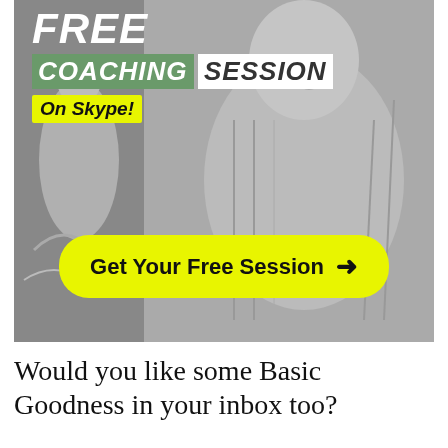[Figure (infographic): Black and white advertisement image showing a man in a knit cardigan with decorative Buddhist/artistic mural in background. Overlaid text reads 'FREE COACHING SESSION On Skype!' with a yellow call-to-action button 'Get Your Free Session →']
Would you like some Basic Goodness in your inbox too?